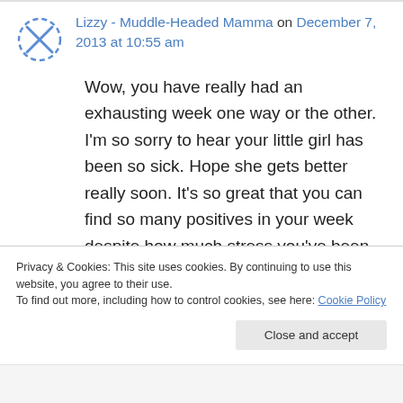[Figure (other): Avatar icon: circular dashed blue border with an X shape inside, representing a user avatar placeholder]
Lizzy - Muddle-Headed Mamma on December 7, 2013 at 10:55 am
Wow, you have really had an exhausting week one way or the other. I'm so sorry to hear your little girl has been so sick. Hope she gets better really soon. It's so great that you can find so many positives in your week despite how much stress you've been under. I love "mommy's sippy cup'! That's going straight to the top of my
Privacy & Cookies: This site uses cookies. By continuing to use this website, you agree to their use.
To find out more, including how to control cookies, see here: Cookie Policy
Close and accept